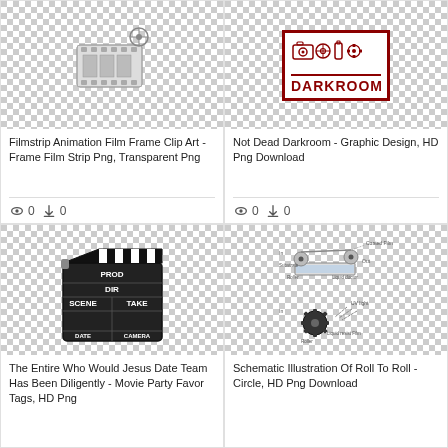[Figure (illustration): Filmstrip animation clip art image on checkered transparent background with film reel icon top right]
Filmstrip Animation Film Frame Clip Art - Frame Film Strip Png, Transparent Png
0  0
[Figure (illustration): Not Dead Darkroom graphic design - dark red/maroon illustrated darkroom equipment (camera, developing reel, chemicals) with bold DARKROOM text below, on checkered transparent background]
Not Dead Darkroom - Graphic Design, HD Png Download
0  0
[Figure (illustration): Movie clapperboard (director's slate) showing PROD, DIR, SCENE, TAKE, DATE, CAMERA fields - black and white clapper with black/white striped top board]
The Entire Who Would Jesus Date Team Has Been Diligently - Movie Party Favor Tags, HD Png
[Figure (schematic): Schematic illustration of roll-to-roll coating process showing rollers, substrate, liquid doctor film, coated film, UV light, liquid resist film labels]
Schematic Illustration Of Roll To Roll - Circle, HD Png Download